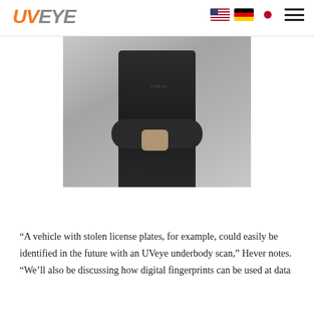UVEye navigation header with logo and language flags (US, German, Japanese) and hamburger menu
[Figure (photo): A person wearing a dark UVeye branded t-shirt with arms crossed, photographed from chest down, set against a blurred indoor background.]
“A vehicle with stolen license plates, for example, could easily be identified in the future with an UVeye underbody scan,” Hever notes. “We’ll also be discussing how digital fingerprints can be used at data